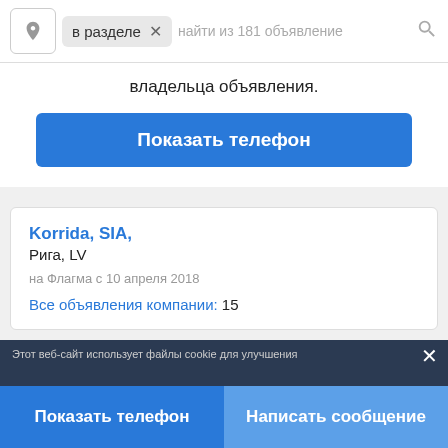[Figure (screenshot): Search bar with location pin icon, 'в разделе' tag pill with X, placeholder text 'найти из 181 объявление', and search icon]
владельца объявления.
Показать телефон
Korrida, SIA,
Рига, LV
на Флагма с 10 апреля 2018
Все объявления компании: 15
Еще ищут:
Этот веб-сайт использует файлы cookie для улучшения
Показать телефон
Написать сообщение